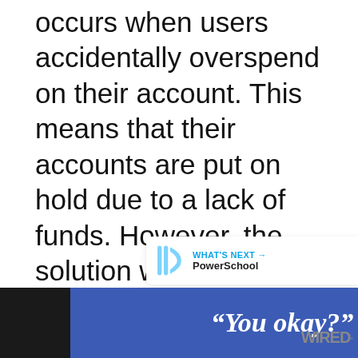occurs when users accidentally overspend on their account. This means that their accounts are put on hold due to a lack of funds. However, the solution we've explained above doesn't work in this situation.
[Figure (screenshot): Gray placeholder content area below the main text]
[Figure (infographic): Like/heart button (blue circle with heart icon), count of 2, and share button (white circle with share icon) on the right side]
[Figure (infographic): What's Next promotional bar showing PowerSchool brand with logo, cyan arrow label]
[Figure (screenshot): Bottom advertisement banner with blue background showing italic text: You okay? with Wired logo on dark background]